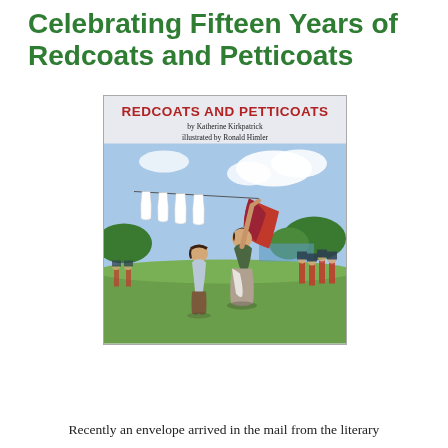Celebrating Fifteen Years of Redcoats and Petticoats
[Figure (illustration): Book cover of 'Redcoats and Petticoats' by Katherine Kirkpatrick, illustrated by Ronald Himler. Shows a woman in colonial dress hanging a red cloth on a clothesline with white garments, a boy beside her, and British redcoat soldiers in the background against a green landscape and blue sky.]
Recently an envelope arrived in the mail from the literary